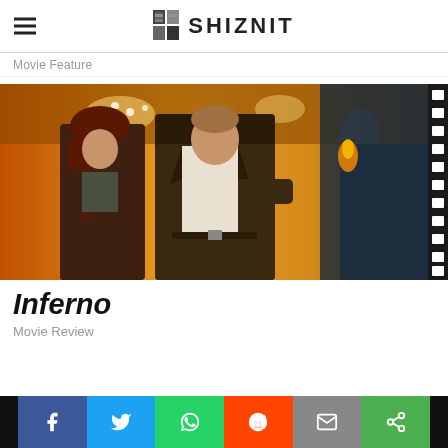SHIZNIT
Movie Feature
[Figure (photo): Movie promotional image for Inferno showing two actors running inside an ornate golden building]
Inferno
Movie Review
[Figure (infographic): Social sharing bar with Facebook, Twitter, WhatsApp, Reddit, Email, and Share buttons]